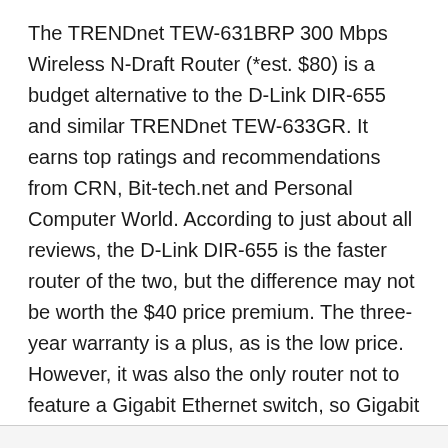The TRENDnet TEW-631BRP 300 Mbps Wireless N-Draft Router (*est. $80) is a budget alternative to the D-Link DIR-655 and similar TRENDnet TEW-633GR. It earns top ratings and recommendations from CRN, Bit-tech.net and Personal Computer World. According to just about all reviews, the D-Link DIR-655 is the faster router of the two, but the difference may not be worth the $40 price premium. The three-year warranty is a plus, as is the low price. However, it was also the only router not to feature a Gigabit Ethernet switch, so Gigabit Ethernet connectivity for wired devices is not supported (you can still connect wired devices through slower 10/100 ports).